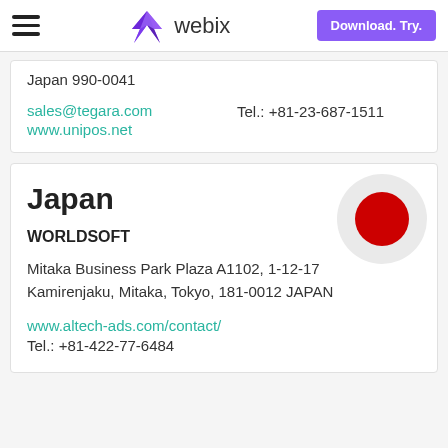webix | Download. Try.
Japan 990-0041
sales@tegara.com   Tel.: +81-23-687-1511
www.unipos.net
Japan
WORLDSOFT
Mitaka Business Park Plaza A1102, 1-12-17
Kamirenjaku, Mitaka, Tokyo, 181-0012 JAPAN
www.altech-ads.com/contact/
Tel.: +81-422-77-6484